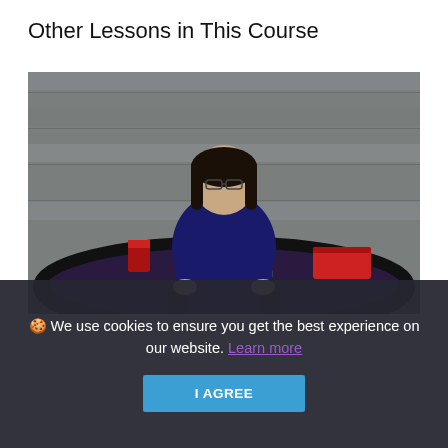Other Lessons in This Course
[Figure (photo): A woman in a navy blue polo shirt standing behind a casino blackjack/card gaming table with a red card shoe, against a gray wood-paneled wall background.]
🍪 We use cookies to ensure you get the best experience on our website. Learn more
I AGREE